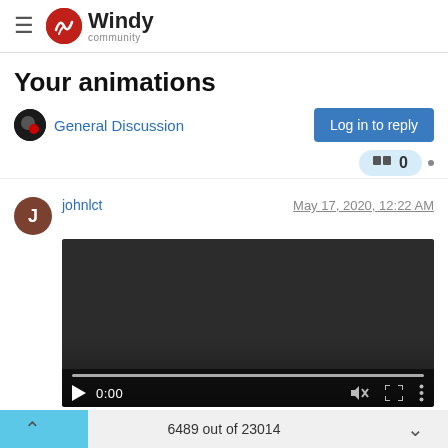Windy community
Your animations
General Discussion
Log in to reply
johnlct   May 17, 2020, 12:22 AM
[Figure (screenshot): Embedded video player showing 0:00 timestamp with play button, mute icon, fullscreen icon, and more options icon. Dark background with progress bar at bottom.]
To download this video just click with right mouse button on this link
6489 out of 23014